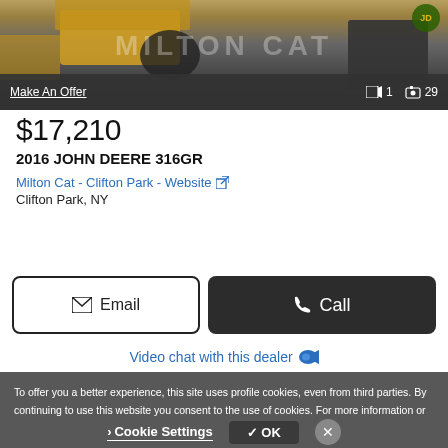[Figure (photo): Construction equipment (skid steer / compact loader) photo with Milton Cat watermark overlay and dark bar showing Make An Offer link and media counts (1 video, 29 photos)]
$17,210
2016 JOHN DEERE 316GR
Milton Cat - Clifton Park - Website
Clifton Park, NY
Email
Call
Video chat with this dealer
To offer you a better experience, this site uses profile cookies, even from third parties. By continuing to use this website you consent to the use of cookies. For more information or to select your preferences consult our Privacy Policy
Cookie Settings
✓ OK